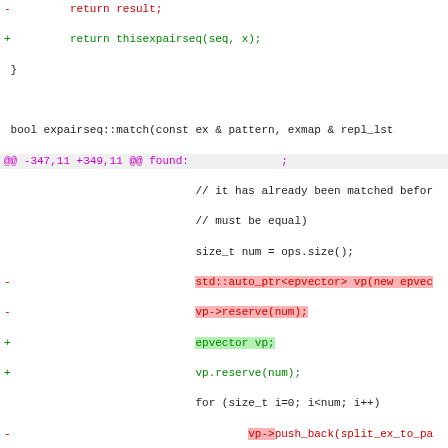diff/patch output showing code changes in expairseq C++ source file
-         return result;
+         return thisexpairseq(seq, x);
 }

 bool expairseq::match(const ex & pattern, exmap & repl_lst
@@ -347,11 +349,11 @@ found:              ;
                             // it has already been matched befor
                             // must be equal)
                             size_t num = ops.size();
-                            std::auto_ptr<epvector> vp(new epvec
-                            vp->reserve(num);
+                            epvector vp;
+                            vp.reserve(num);
                             for (size_t i=0; i<num; i++)
-                                    vp->push_back(split_ex_to_pa
-                             ex rest = thisexpairseq(vp, default_
+                                    vp.push_back(split_ex_to_pai
+                             ex rest = thisexpairseq(std::move(vp
                             for (exmap::const_iterator it = tmp_
                                     if (it->first.is_equal(globa
                                             if (rest.is_equal(it
@@ -381,9 +383,9 @@ found:              ;

 ex expairseq::subs(const exmap & m, unsigned options) const
 {
-         std::auto_ptr<epvector> vp = subschildren(m, options
-         if (vp.get())
-                 return ex_to<basic>(thisexpairseq(vp, overal
+         epvector subsed = subschildren(m, options);
+         if (!subsed.empty())
+                 return ex_to<basic>(thisexpairseq(std::move(
  else if ((options & subs_options::algebraic) && is